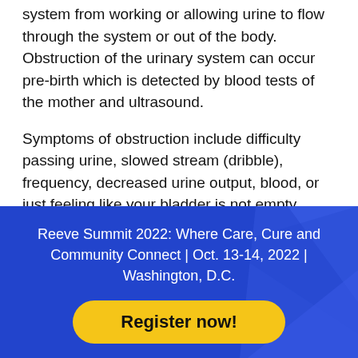system from working or allowing urine to flow through the system or out of the body. Obstruction of the urinary system can occur pre-birth which is detected by blood tests of the mother and ultrasound.
Symptoms of obstruction include difficulty passing urine, slowed stream (dribble), frequency, decreased urine output, blood, or just feeling like your bladder is not empty.
Reeve Summit 2022: Where Care, Cure and Community Connect | Oct. 13-14, 2022 | Washington, D.C.